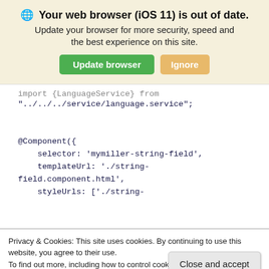[Figure (screenshot): Browser out-of-date banner with globe icon, bold title 'Your web browser (iOS 11) is out of date.', subtitle text, and two buttons: 'Update browser' (green) and 'Ignore' (tan/gold)]
import {LanguageService} from
"../../../service/language.service";

@Component({
    selector: 'mymiller-string-field',
    templateUrl: './string-
field.component.html',
    styleUrls: ['./string-
Privacy & Cookies: This site uses cookies. By continuing to use this website, you agree to their use.
To find out more, including how to control cookies, see here: Cookie Policy
Close and accept
componentId: string,